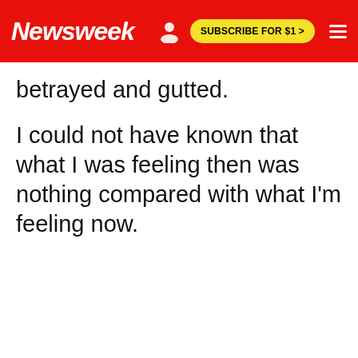Newsweek | SUBSCRIBE FOR $1 >
betrayed and gutted.
I could not have known that what I was feeling then was nothing compared with what I'm feeling now.